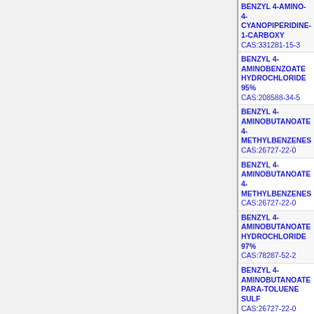BENZYL 4-AMINO-4-CYANOPIPERIDINE-1-CARBOXYLATE
CAS:331281-15-3
BENZYL 4-AMINOBENZOATE HYDROCHLORIDE 95%
CAS:208588-34-5
BENZYL 4-AMINOBUTANOATE 4-METHYLBENZENESULFONATE
CAS:26727-22-0
BENZYL 4-AMINOBUTANOATE 4-METHYLBENZENESULFONATE
CAS:26727-22-0
BENZYL 4-AMINOBUTANOATE HYDROCHLORIDE 97%
CAS:78287-52-2
BENZYL 4-AMINOBUTANOATE PARA-TOLUENE SULFONATE
CAS:26727-22-0
BENZYL 4-AMINOPHENYLCARBAMATE 95%
CAS:82720-42-1
BENZYL 4-BENZYLMORPHOLINE-3-CARBOXYLATE 95%
CAS:1042363-71-2
BENZYL 4-BORONO-2-FLUOROPHENYLCARBAMATE
CAS:874290-60-5
BENZYL 4-BROMO-2-HYDROXYBENZYLCARBAMATE
CAS:1033194-56-7
BENZYL 4-BROMO-2-METHYLPHENYLCARBAMATE 95%
CAS:1245563-07-8
BENZYL 4-BROMOBUTANOATE 95%
CAS:126430-46-4
BENZYL 4-BROMOBUTANOATE 95%, FOR SYNTHESIS
CAS:126430-46-4
BENZYL 4-BROMOBUTANOATE 95+%